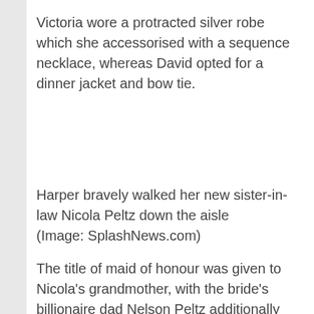Victoria wore a protracted silver robe which she accessorised with a sequence necklace, whereas David opted for a dinner jacket and bow tie.
Harper bravely walked her new sister-in-law Nicola Peltz down the aisle
(Image: SplashNews.com)
The title of maid of honour was given to Nicola's grandmother, with the bride's billionaire dad Nelson Peltz additionally seen on the ceremony hosted at his £76million luxurious